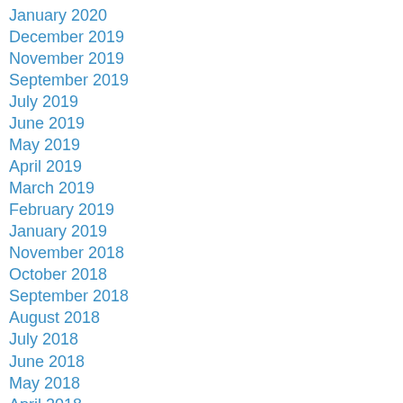January 2020
December 2019
November 2019
September 2019
July 2019
June 2019
May 2019
April 2019
March 2019
February 2019
January 2019
November 2018
October 2018
September 2018
August 2018
July 2018
June 2018
May 2018
April 2018
March 2018
February 2018